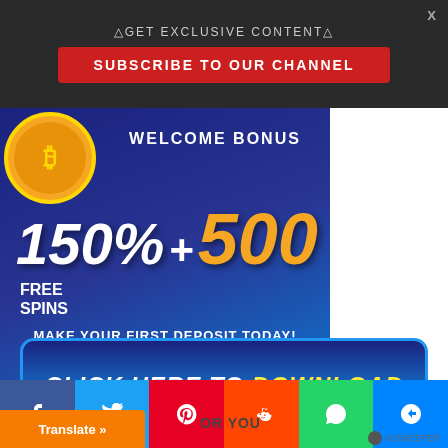△GET EXCLUSIVE CONTENT△
SUBSCRIBE TO OUR CHANNEL
[Figure (infographic): Casino welcome bonus advertisement: coin graphic, 150% + 500 FREE SPINS welcome bonus, MAKE YOUR FIRST DEPOSIT TODAY!, GET STARTED button]
[Figure (infographic): Click here to download button - blue background with yellow DOWNLOAD text]
[Figure (infographic): Social media share buttons: Facebook, Twitter, Pinterest, Reddit, WhatsApp, Messenger]
Translate »
OR YOU
ADSKEEPER